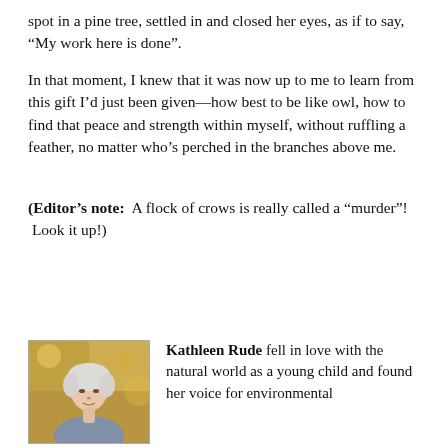spot in a pine tree, settled in and closed her eyes, as if to say, “My work here is done”.
In that moment, I knew that it was now up to me to learn from this gift I’d just been given—how best to be like owl, how to find that peace and strength within myself, without ruffling a feather, no matter who’s perched in the branches above me.
(Editor’s note:  A flock of crows is really called a “murder”! Look it up!)
[Figure (photo): Portrait photo of Kathleen Rude, a woman with short white/silver hair, outdoors with blurred yellow-green foliage background.]
Kathleen Rude fell in love with the natural world as a young child and found her voice for environmental